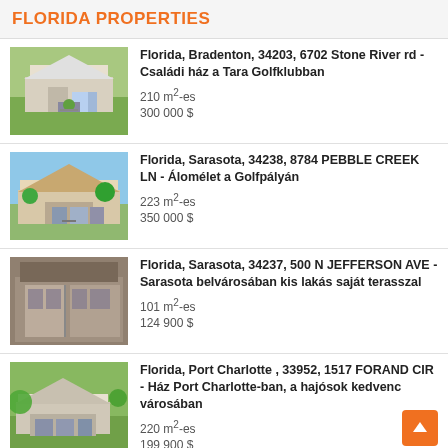FLORIDA PROPERTIES
Florida, Bradenton, 34203, 6702 Stone River rd - Családi ház a Tara Golfklubban | 210 m²-es | 300 000 $
Florida, Sarasota, 34238, 8784 PEBBLE CREEK LN - Álomélet a Golfpályán | 223 m²-es | 350 000 $
Florida, Sarasota, 34237, 500 N JEFFERSON AVE - Sarasota belvárosában kis lakás saját terasszal | 101 m²-es | 124 900 $
Florida, Port Charlotte , 33952, 1517 FORAND CIR - Ház Port Charlotte-ban, a hajósok kedvenc városában | 220 m²-es | 199 900 $